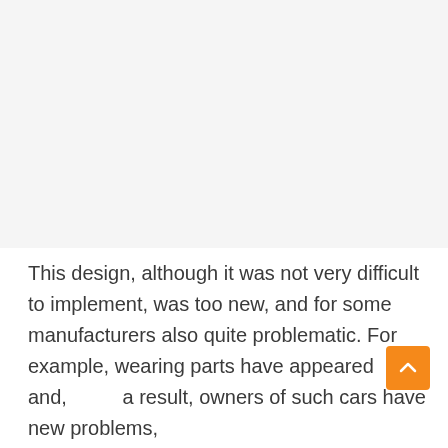[Figure (other): Blank light gray image placeholder occupying the upper portion of the page]
This design, although it was not very difficult to implement, was too new, and for some manufacturers also quite problematic. For example, wearing parts have appeared and, as a result, owners of such cars have new problems,